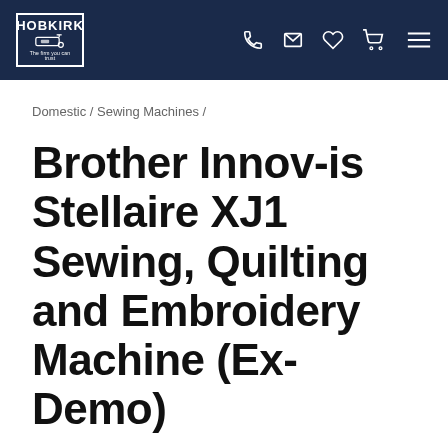HOBKIRK | The firm you can trust | [navigation icons: phone, email, wishlist, cart, menu]
Domestic / Sewing Machines /
Brother Innov-is Stellaire XJ1 Sewing, Quilting and Embroidery Machine (Ex-Demo)